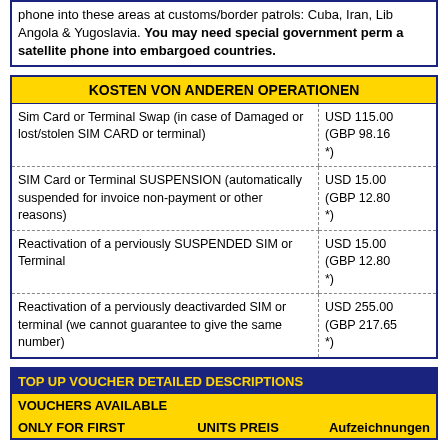phone into these areas at customs/border patrols: Cuba, Iran, Lib Angola & Yugoslavia. You may need special government perm a satellite phone into embargoed countries.
|  |  |
| --- | --- |
| Sim Card or Terminal Swap (in case of Damaged or lost/stolen SIM CARD or terminal) | USD 115.00 (GBP 98.16 *) |
| SIM Card or Terminal SUSPENSION (automatically suspended for invoice non-payment or other reasons) | USD 15.00 (GBP 12.80 *) |
| Reactivation of a perviously SUSPENDED SIM or Terminal | USD 15.00 (GBP 12.80 *) |
| Reactivation of a perviously deactivarded SIM or terminal (we cannot guarantee to give the same number) | USD 255.00 (GBP 217.65 *) |
TOP UP VOUCHER DETAILED DESCRIPTIONS
VOUCHERS AVAILABLE
ONLY FOR FIRST    UNITS PREIS    Aufzeichnungen